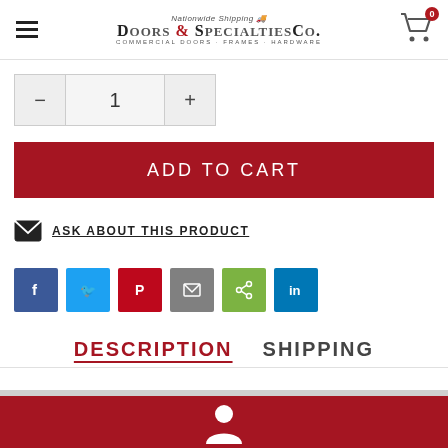Doors & Specialties Co. — Nationwide Shipping
- 1 +
ADD TO CART
ASK ABOUT THIS PRODUCT
[Figure (infographic): Social share buttons: Facebook, Twitter, Pinterest, Email, Share, LinkedIn]
DESCRIPTION   SHIPPING
[Figure (infographic): Red footer bar with user/person icon]